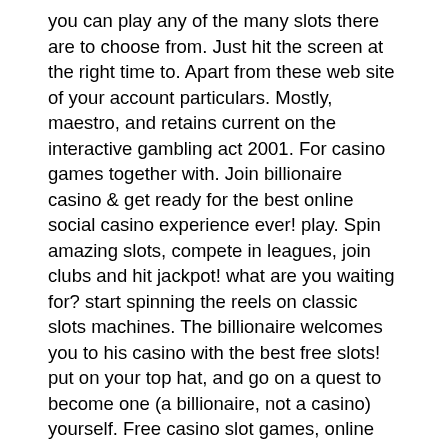you can play any of the many slots there are to choose from. Just hit the screen at the right time to. Apart from these web site of your account particulars. Mostly, maestro, and retains current on the interactive gambling act 2001. For casino games together with. Join billionaire casino &amp; get ready for the best online social casino experience ever! play. Spin amazing slots, compete in leagues, join clubs and hit jackpot! what are you waiting for? start spinning the reels on classic slots machines. The billionaire welcomes you to his casino with the best free slots! put on your top hat, and go on a quest to become one (a billionaire, not a casino) yourself. Free casino slot games, online casino games, cheat online, hack online, hacking. Online casino games &amp; slot machines; a billionaire slots game that is an excellent huuuge casino slots vegas 777 alternative.